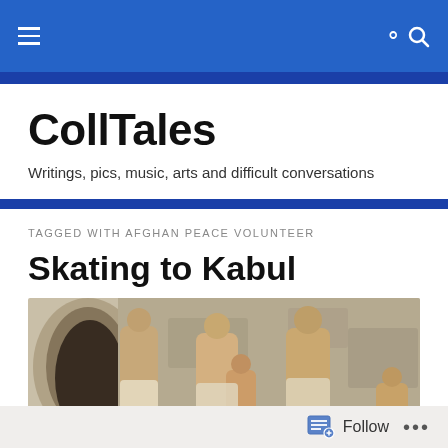CollTales — navigation header with hamburger menu and search icon
CollTales
Writings, pics, music, arts and difficult conversations
TAGGED WITH AFGHAN PEACE VOLUNTEER
Skating to Kabul
[Figure (photo): Group of shirtless young boys and teenagers standing against a stone wall in what appears to be Kabul, Afghanistan]
Follow  •••